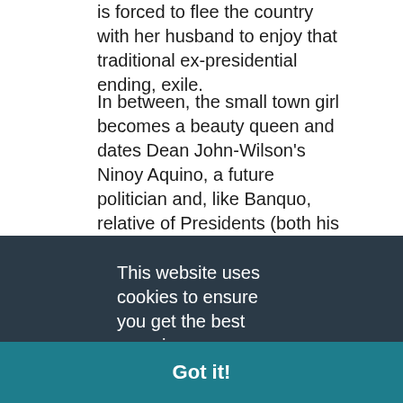is forced to flee the country with her husband to enjoy that traditional ex-presidential ending, exile.
In between, the small town girl becomes a beauty queen and dates Dean John-Wilson's Ninoy Aquino, a future politician and, like Banquo, relative of Presidents (both his wife Corazon and son Benigno held the post after his assassination) before leaving home.
In Manila, she soon starts dating Mark
This website uses cookies to ensure you get the best experience on our website.
Learn more
Got it!
backdrop to belted out pop and disco